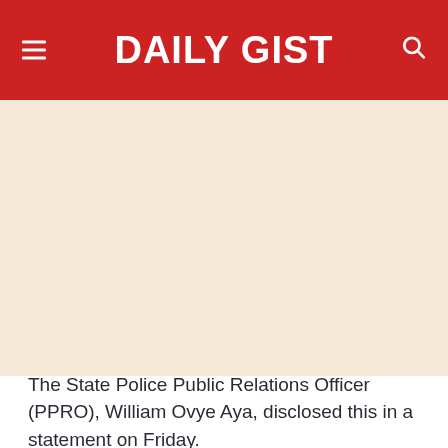DAILY GIST
[Figure (photo): Large image placeholder area with cream/beige background, likely a news photo that did not load]
The State Police Public Relations Officer (PPRO), William Ovye Aya, disclosed this in a statement on Friday.